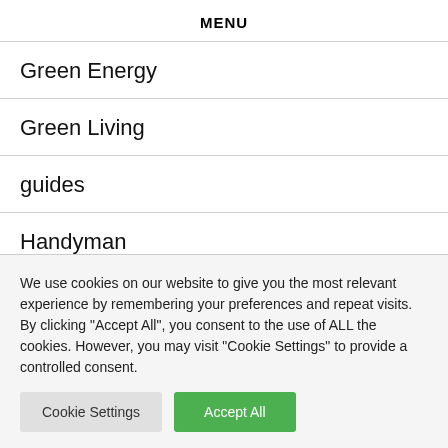MENU
Green Energy
Green Living
guides
Handyman
We use cookies on our website to give you the most relevant experience by remembering your preferences and repeat visits. By clicking "Accept All", you consent to the use of ALL the cookies. However, you may visit "Cookie Settings" to provide a controlled consent.
Cookie Settings | Accept All